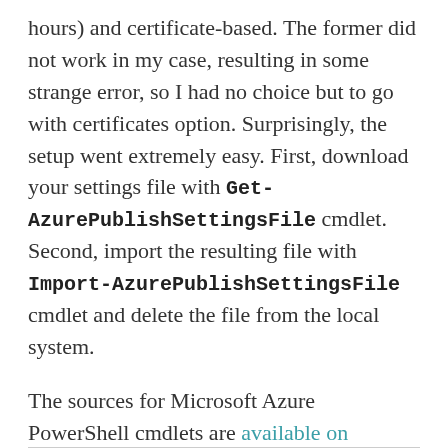hours) and certificate-based. The former did not work in my case, resulting in some strange error, so I had no choice but to go with certificates option. Surprisingly, the setup went extremely easy. First, download your settings file with Get-AzurePublishSettingsFile cmdlet. Second, import the resulting file with Import-AzurePublishSettingsFile cmdlet and delete the file from the local system.
The sources for Microsoft Azure PowerShell cmdlets are available on GitHub, as well as the changelog.